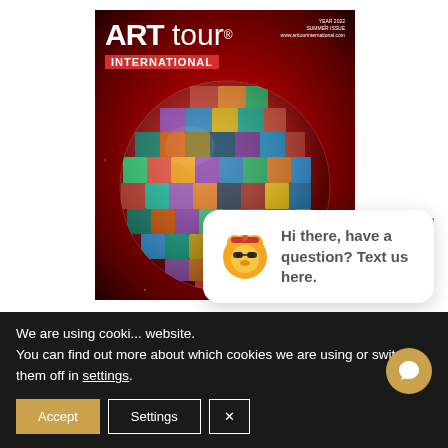[Figure (photo): ART tour INTERNATIONAL magazine cover showing a globe made of artwork tiles against a red nebula background]
close
[Figure (illustration): Chat widget showing a cartoon mascot bear with sunglasses and the text: Hi there, have a question? Text us here.]
We are using cooki... website.
You can find out more about which cookies we are using or switch them off in settings.
Accept
Settings
×